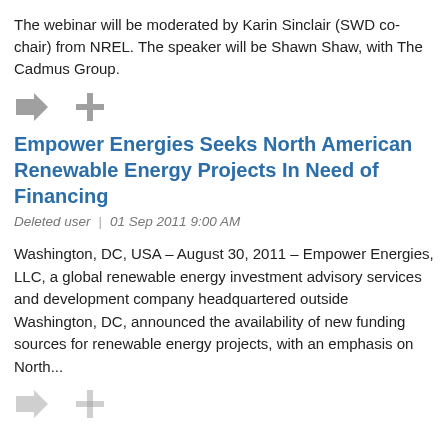The webinar will be moderated by Karin Sinclair (SWD co-chair) from NREL. The speaker will be Shawn Shaw, with The Cadmus Group.
[Figure (other): Two gray icon buttons: a right-arrow icon and a plus icon]
Empower Energies Seeks North American Renewable Energy Projects In Need of Financing
Deleted user  |  01 Sep 2011 9:00 AM
Washington, DC, USA – August 30, 2011 – Empower Energies, LLC, a global renewable energy investment advisory services and development company headquartered outside Washington, DC, announced the availability of new funding sources for renewable energy projects, with an emphasis on North...
[Figure (other): Two gray icon buttons partially visible at bottom: a right-arrow icon and a plus icon]